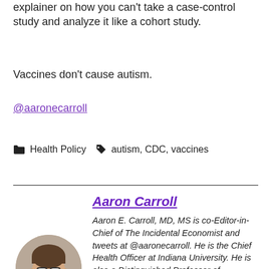explainer on how you can't take a case-control study and analyze it like a cohort study.
Vaccines don't cause autism.
@aaronecarroll
Health Policy   autism, CDC, vaccines
Aaron Carroll
Aaron E. Carroll, MD, MS is co-Editor-in-Chief of The Incidental Economist and tweets at @aaronecarroll. He is the Chief Health Officer at Indiana University. He is also a Distinguished Professor of Pediatrics and Associate Dean for Research Mentoring at the Indiana...
[Figure (photo): Headshot photo of Aaron Carroll, a man with glasses and a goatee wearing a suit jacket]